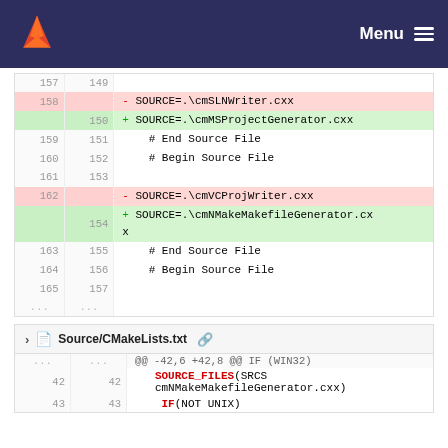GitLab — Menu
[Figure (screenshot): Diff view showing file changes with line numbers, red deleted lines and green added lines. Top diff section shows SOURCE= lines being replaced. Bottom section shows Source/CMakeLists.txt file header and diff hunk starting at -42,6 +42,8 IF (WIN32).]
157 149
158   - SOURCE=.\cmSLNWriter.cxx
    150 + SOURCE=.\cmMSProjectGenerator.cxx
159 151   # End Source File
160 152   # Begin Source File
161 153
162   - SOURCE=.\cmVCProjWriter.cxx
    154 + SOURCE=.\cmNMakeMakefileGenerator.cxx
163 155   # End Source File
164 156   # Begin Source File
165 157
... ...
Source/CMakeLists.txt
@@ -42,6 +42,8 @@ IF (WIN32)
42 42   SOURCE_FILES(SRCS cmNMakeMakefileGenerator.cxx)
43 43   IF(NOT UNIX)